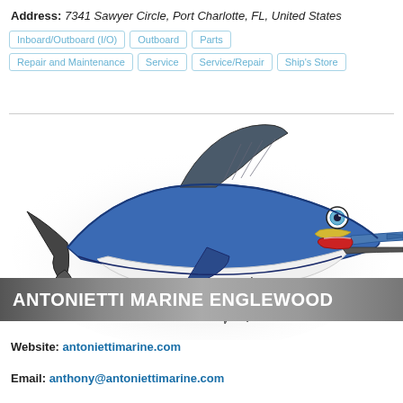Address: 7341 Sawyer Circle, Port Charlotte, FL, United States
Inboard/Outboard (I/O)
Outboard
Parts
Repair and Maintenance
Service
Service/Repair
Ship's Store
[Figure (illustration): Cartoon blue marlin fish illustration with a yellow stripe near the mouth, blue body, white belly, and a long pointed bill, shown jumping with fins spread against a white/grey radial shadow background]
ANTONIETTI MARINE ENGLEWOOD
Website: antoniettimarine.com
Email: anthony@antoniettimarine.com